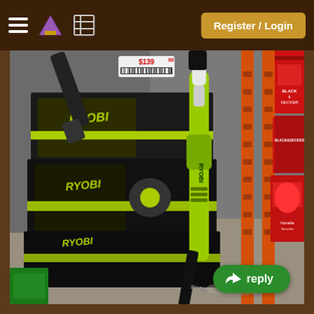Register / Login
[Figure (photo): Photograph taken inside a hardware store (Home Depot) showing Ryobi power tools and outdoor equipment leaning against store shelving. A bright yellow-green Ryobi string trimmer/edger is prominently visible, along with several Ryobi branded boxes in black and yellow. Orange metal store shelving with peg holes is visible in the background. To the right are red product boxes including Homelite and Homelite/Camelite branded items and Black & Decker boxes. A price tag showing $139.00 is visible at the top. The tools appear to be leaning casually against the shelving unit.]
reply